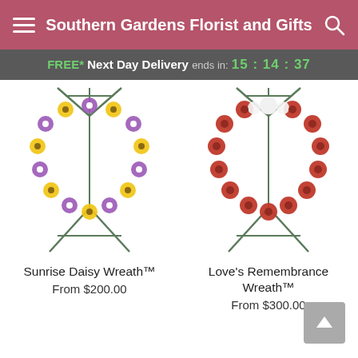Southern Gardens Florist and Gifts
FREE* Next Day Delivery ends in: 15:14:37
[Figure (photo): Sunrise Daisy Wreath on a metal stand with yellow and purple daisy flowers arranged in a circular wreath shape]
Sunrise Daisy Wreath™
From $200.00
[Figure (photo): Love's Remembrance Wreath on a metal stand with red roses and carnations with white orchids at the top arranged in a circular wreath shape]
Love's Remembrance Wreath™
From $300.00